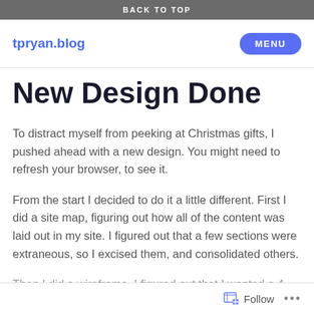BACK TO TOP
tpryan.blog
New Design Done
To distract myself from peeking at Christmas gifts, I pushed ahead with a new design. You might need to refresh your browser, to see it.
From the start I decided to do it a little different. First I did a site map, figuring out how all of the content was laid out in my site. I figured out that a few sections were extraneous, so I excised them, and consolidated others.
Then I did a wireframe. I figured out that I wanted a 4
Follow ...